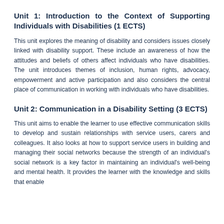Unit 1: Introduction to the Context of Supporting Individuals with Disabilities (1 ECTS)
This unit explores the meaning of disability and considers issues closely linked with disability support. These include an awareness of how the attitudes and beliefs of others affect individuals who have disabilities. The unit introduces themes of inclusion, human rights, advocacy, empowerment and active participation and also considers the central place of communication in working with individuals who have disabilities.
Unit 2: Communication in a Disability Setting (3 ECTS)
This unit aims to enable the learner to use effective communication skills to develop and sustain relationships with service users, carers and colleagues. It also looks at how to support service users in building and managing their social networks because the strength of an individual's social network is a key factor in maintaining an individual's well-being and mental health. It provides the learner with the knowledge and skills that enable...